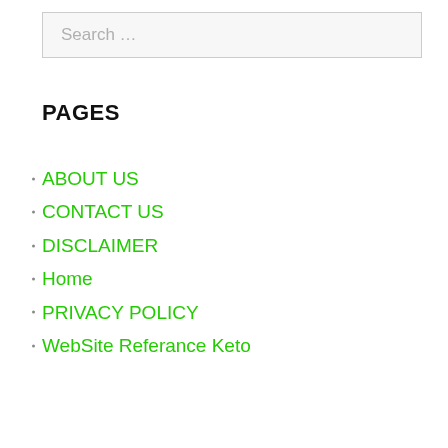Search …
PAGES
ABOUT US
CONTACT US
DISCLAIMER
Home
PRIVACY POLICY
WebSite Referance Keto